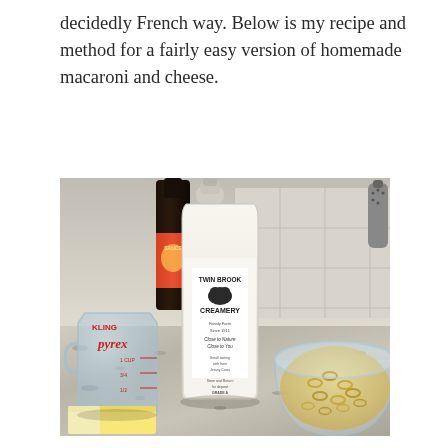decidedly French way. Below is my recipe and method for a fairly easy version of homemade macaroni and cheese.
[Figure (photo): Kitchen counter with baking ingredients: a Twin Brook Creamery milk bottle (glass), a Pyrex measuring cup, a stick of butter, a dark wine/sauce bottle, a clear plastic bowl of dry elbow macaroni pasta, all on a granite countertop.]